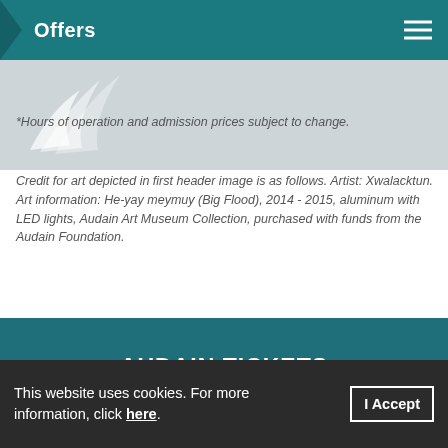Offers
*Hours of operation and admission prices subject to change.
Credit for art depicted in first header image is as follows. Artist: Xwalacktun. Art information: He-yay meymuy (Big Flood), 2014 - 2015, aluminum with LED lights, Audain Art Museum Collection, purchased with funds from the Audain Foundation.
AUDAIN TICKETS
SAVE UP TO
10%
BOOK BY AUGUST 31
This website uses cookies. For more information, click here.